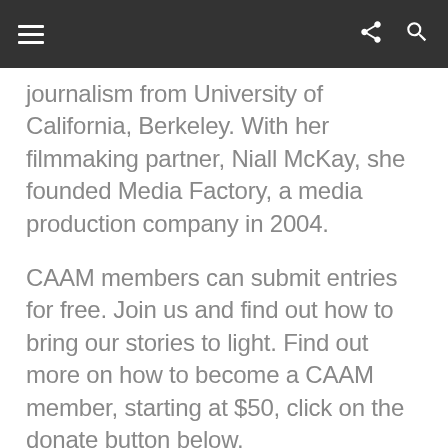Navigation bar with hamburger menu, share icon, and search icon
journalism from University of California, Berkeley. With her filmmaking partner, Niall McKay, she founded Media Factory, a media production company in 2004.
CAAM members can submit entries for free. Join us and find out how to bring our stories to light. Find out more on how to become a CAAM member, starting at $50, click on the donate button below.
[Figure (other): Pink DONATE button with double arrow chevron on the left side]